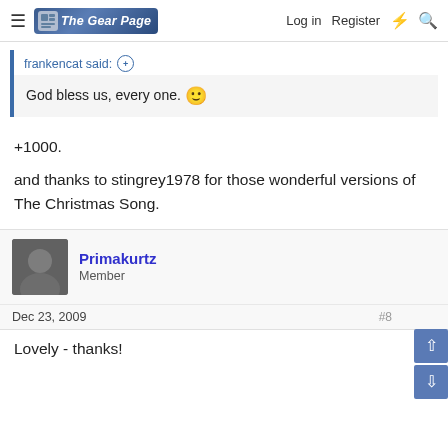The Gear Page — Log in  Register
frankencat said:
God bless us, every one. 🙂
+1000.
and thanks to stingrey1978 for those wonderful versions of The Christmas Song.
Primakurtz
Member
Dec 23, 2009
Lovely - thanks!